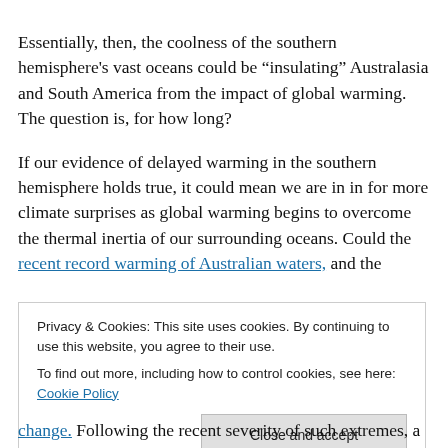Essentially, then, the coolness of the southern hemisphere's vast oceans could be “insulating” Australasia and South America from the impact of global warming. The question is, for how long?
If our evidence of delayed warming in the southern hemisphere holds true, it could mean we are in in for more climate surprises as global warming begins to overcome the thermal inertia of our surrounding oceans. Could the recent record warming of Australian waters, and the
Privacy & Cookies: This site uses cookies. By continuing to use this website, you agree to their use. To find out more, including how to control cookies, see here: Cookie Policy
Close and accept
change. Following the recent severity of such extremes, a